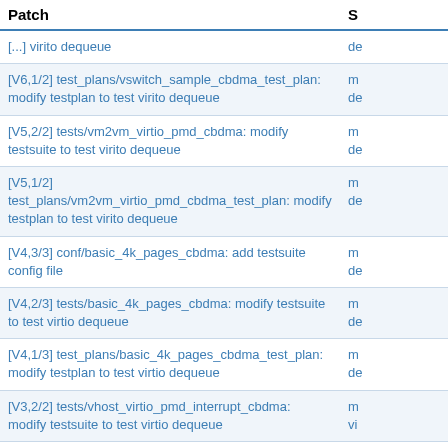| Patch | S |
| --- | --- |
| [...] virito dequeue | de |
| [V6,1/2] test_plans/vswitch_sample_cbdma_test_plan: modify testplan to test virito dequeue | m de |
| [V5,2/2] tests/vm2vm_virtio_pmd_cbdma: modify testsuite to test virito dequeue | m de |
| [V5,1/2] test_plans/vm2vm_virtio_pmd_cbdma_test_plan: modify testplan to test virito dequeue | m de |
| [V4,3/3] conf/basic_4k_pages_cbdma: add testsuite config file | m de |
| [V4,2/3] tests/basic_4k_pages_cbdma: modify testsuite to test virtio dequeue | m de |
| [V4,1/3] test_plans/basic_4k_pages_cbdma_test_plan: modify testplan to test virtio dequeue | m de |
| [V3,2/2] tests/vhost_virtio_pmd_interrupt_cbdma: modify testsuite to test virtio dequeue | m vi |
| [V3,1/2] test_plans/vhost_virtio_pmd_interrupt_cbdma_test_plan: modify testplan to test virtio dequ... | m vi |
| [V1,3/3] tests: add rx_timestamp_perf test script | ad |
| [V1,2/3] conf/add_config_parameter_for_configuration_f... |  |